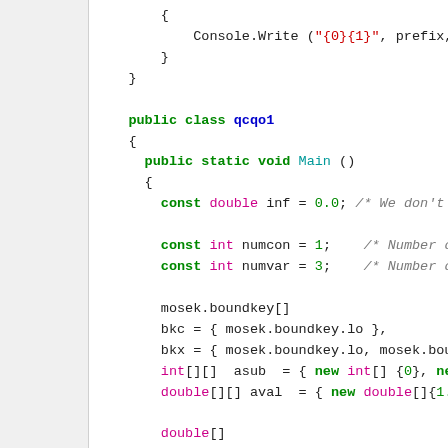[Figure (screenshot): C# source code snippet showing a public class qcqo1 with a Main method, variable declarations for mosek optimization, including boundkey arrays, double arrays blc, buc, c, blx, bux, xx, and a try block.]